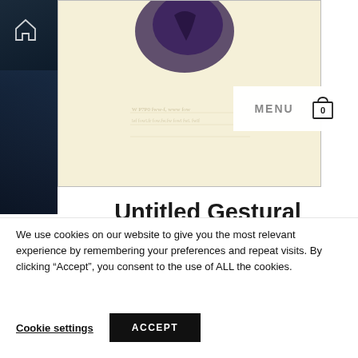[Figure (photo): Artwork photo showing a gestural composition with dark purple blob/figure on cream/ivory paper background, displayed in a bordered frame]
[Figure (screenshot): Website navigation bar overlay showing MENU text and shopping cart icon with 0 items]
Untitled Gestural Composition
We use cookies on our website to give you the most relevant experience by remembering your preferences and repeat visits. By clicking “Accept”, you consent to the use of ALL the cookies.
Cookie settings
ACCEPT